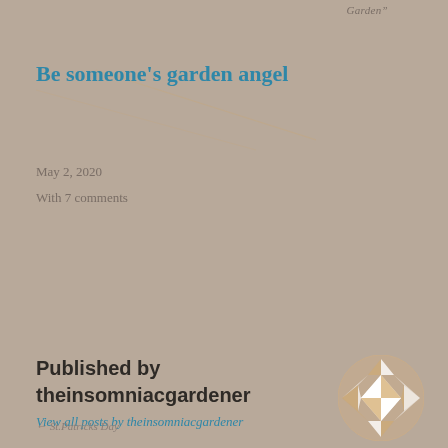Garden"
Be someone's garden angel
May 2, 2020
With 7 comments
Published by theinsomniacgardener
View all posts by theinsomniacgardener
← St.Patricks Day